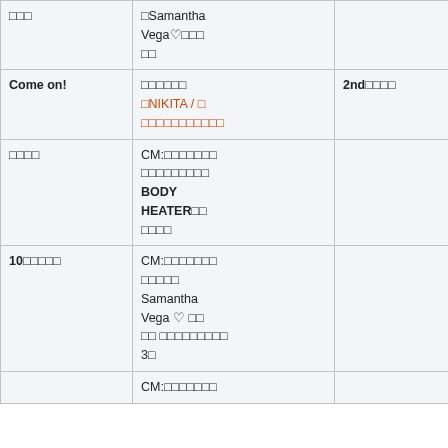|  | □□□ | □Samantha Vega♡□□□□□ |  |
| --- | --- | --- | --- |
|  | Come on! | □□□□□□
□NIKITA / □□□□□□□□□□□ | 2nd□□□□ |
|  | □□□□ | CM:□□□□□□□
□□□□□□□□□
BODY HEATER□□
□□□□ |  |
|  | 10□□□□□ | CM:□□□□□□□
□□□□□
Samantha Vega ♡ □□
□□ □□□□□□□□□□
3□ |  |
|  |  | CM:□□□□□□□ |  |